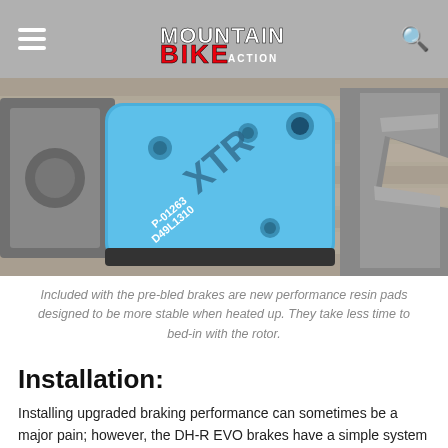Mountain Bike Action
[Figure (photo): Close-up photo of a blue Shimano XTR brake pad (model P-01263, D49L1310) resting on a concrete surface next to metal brake hardware components.]
Included with the pre-bled brakes are new performance resin pads designed to be more stable when heated up. They take less time to bed-in with the rotor.
Installation:
Installing upgraded braking performance can sometimes be a major pain; however, the DH-R EVO brakes have a simple system to provide the trip...